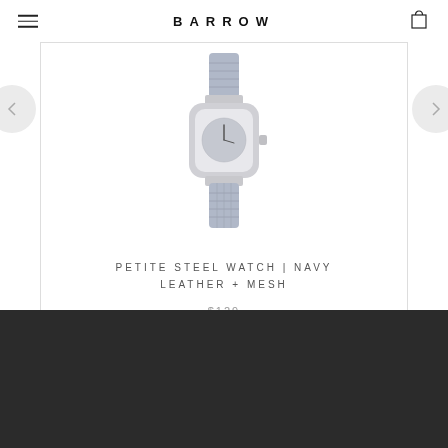BARROW
[Figure (photo): Petite steel watch with navy leather and mesh band, showing watch face on white background]
PETITE STEEL WATCH | NAVY LEATHER + MESH
$129